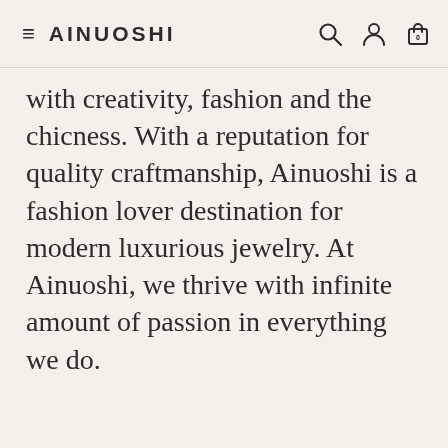≡ AINUOSHI
with creativity, fashion and the chicness. With a reputation for quality craftmanship, Ainuoshi is a fashion lover destination for modern luxurious jewelry. At Ainuoshi, we thrive with infinite amount of passion in everything we do.